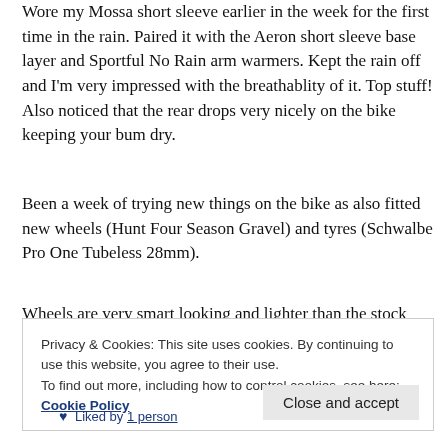Wore my Mossa short sleeve earlier in the week for the first time in the rain. Paired it with the Aeron short sleeve base layer and Sportful No Rain arm warmers. Kept the rain off and I'm very impressed with the breathablity of it. Top stuff! Also noticed that the rear drops very nicely on the bike keeping your bum dry.
Been a week of trying new things on the bike as also fitted new wheels (Hunt Four Season Gravel) and tyres (Schwalbe Pro One Tubeless 28mm).
Wheels are very smart looking and lighter than the stock
Privacy & Cookies: This site uses cookies. By continuing to use this website, you agree to their use.
To find out more, including how to control cookies, see here: Cookie Policy
Close and accept
Liked by 1 person